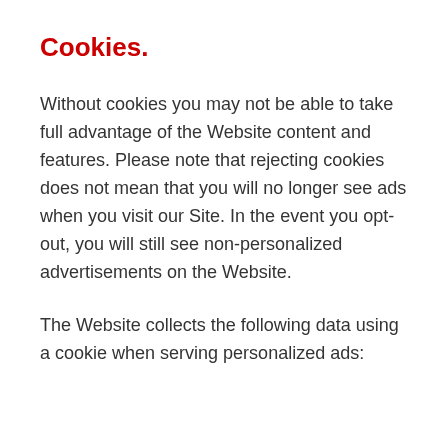Cookies.
Without cookies you may not be able to take full advantage of the Website content and features. Please note that rejecting cookies does not mean that you will no longer see ads when you visit our Site. In the event you opt-out, you will still see non-personalized advertisements on the Website.
The Website collects the following data using a cookie when serving personalized ads: